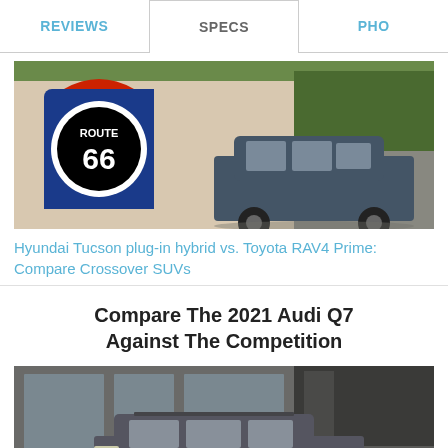REVIEWS  SPECS  PHO
[Figure (photo): Hyundai Tucson plug-in hybrid crossover SUV parked in front of a Route 66 mural building]
Hyundai Tucson plug-in hybrid vs. Toyota RAV4 Prime: Compare Crossover SUVs
Compare The 2021 Audi Q7 Against The Competition
[Figure (photo): Audi Q7 SUV parked in front of a modern building with large windows]